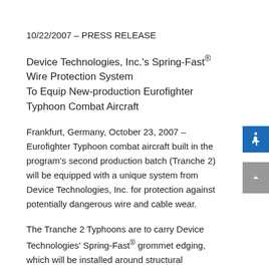10/22/2007 – PRESS RELEASE
Device Technologies, Inc.'s Spring-Fast® Wire Protection System
To Equip New-production Eurofighter Typhoon Combat Aircraft
Frankfurt, Germany, October 23, 2007 – Eurofighter Typhoon combat aircraft built in the program's second production batch (Tranche 2) will be equipped with a unique system from Device Technologies, Inc. for protection against potentially dangerous wire and cable wear.
The Tranche 2 Typhoons are to carry Device Technologies' Spring-Fast® grommet edging, which will be installed around structural openings in the aircraft's fuselage and wings to cushion the contact between